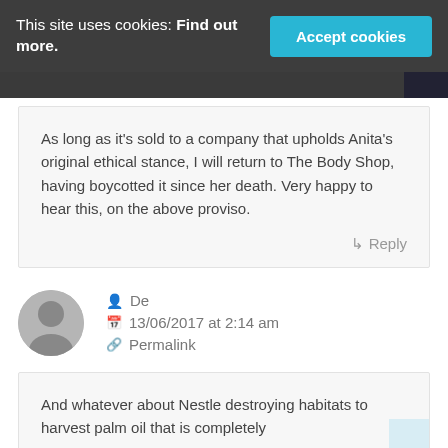This site uses cookies: Find out more. Accept cookies
As long as it's sold to a company that upholds Anita's original ethical stance, I will return to The Body Shop, having boycotted it since her death. Very happy to hear this, on the above proviso.
↳ Reply
De
13/06/2017 at 2:14 am
Permalink
And whatever about Nestle destroying habitats to harvest palm oil that is completely